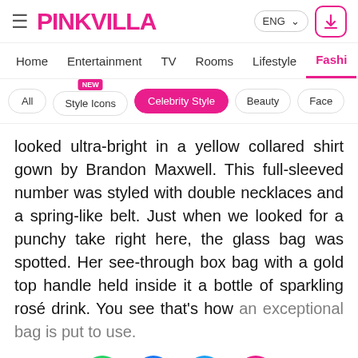PINKVILLA — ENG
Home | Entertainment | TV | Rooms | Lifestyle | Fashion
All | Style Icons (NEW) | Celebrity Style | Beauty | Faced
looked ultra-bright in a yellow collared shirt gown by Brandon Maxwell. This full-sleeved number was styled with double necklaces and a spring-like belt. Just when we looked for a punchy take right here, the glass bag was spotted. Her see-through box bag with a gold top handle held inside it a bottle of sparkling rosé drink. You see that's how an exceptional bag is put to use.
[Figure (other): Social share icons: WhatsApp (green), Facebook (dark blue), Twitter (light blue), Chat/comment (pink/red). Close X button on right.]
[Figure (other): Advertisement banner: Topgolf logo with play icon and navigation icon on right, on grey background.]